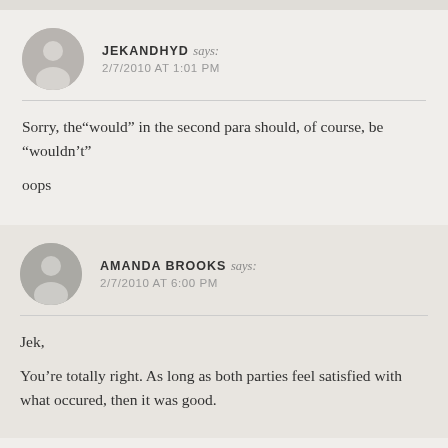JEKANDHYD says: 2/7/2010 AT 1:01 PM
Sorry, the“would” in the second para should, of course, be “wouldn’t”
oops
AMANDA BROOKS says: 2/7/2010 AT 6:00 PM
Jek,
You’re totally right. As long as both parties feel satisfied with what occured, then it was good.